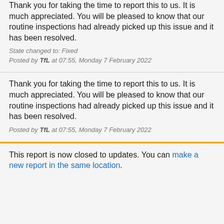Thank you for taking the time to report this to us. It is much appreciated. You will be pleased to know that our routine inspections had already picked up this issue and it has been resolved.
State changed to: Fixed
Posted by TfL at 07:55, Monday 7 February 2022
Thank you for taking the time to report this to us. It is much appreciated. You will be pleased to know that our routine inspections had already picked up this issue and it has been resolved.
Posted by TfL at 07:55, Monday 7 February 2022
This report is now closed to updates. You can make a new report in the same location.